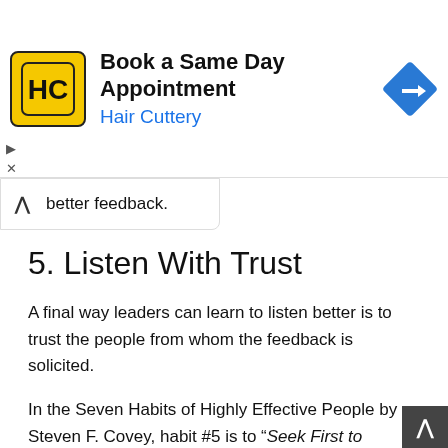[Figure (screenshot): Advertisement banner for Hair Cuttery: 'Book a Same Day Appointment' with HC logo and navigation arrow icon]
better feedback.
5. Listen With Trust
A final way leaders can learn to listen better is to trust the people from whom the feedback is solicited.
In the Seven Habits of Highly Effective People by Steven F. Covey, habit #5 is to “Seek First to Understand, Then to be Understood.” In order to do so, leaders must not only listen but listen with respect and earned trust.
People under the influence of a leader must tru that their feedback will be heard and respected